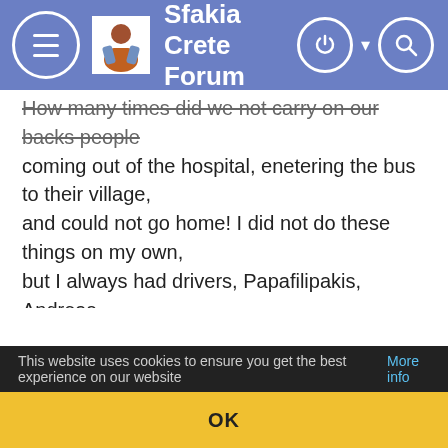Sfakia Crete Forum
How many times did we not carry on our backs people coming out of the hospital, enetering the bus to their village, and could not go home! I did not do these things on my own, but I always had drivers, Papafilipakis, Andreas Koutsoperiakis, Giorgos Pradalakis … ".
BREAD DELIVERY
At that time the buses did not only transport the inhabitants of the villages but sometimes also their … live stock. "We had racks at the back for all of this. Even a live cow we had brought from Asphentille! Sometimes we stopped at the bakery at Skine from where we loaded 12 loafs of bread for Eastern Selino, and delivered them from Revnochori to Koustogerako. I also got a loaf and I sliced it and offered them to the passengers. Among them, in summer also tourists, few in the beginning, more afterwards! You should
This website uses cookies to ensure you get the best experience on our website More info
OK